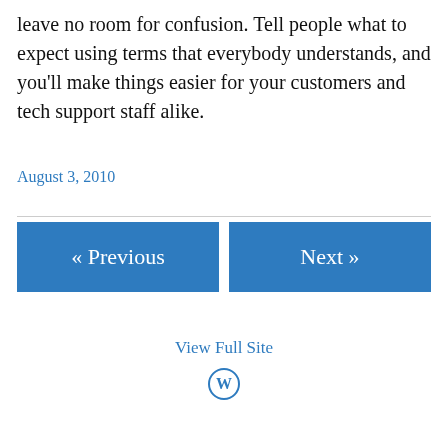leave no room for confusion. Tell people what to expect using terms that everybody understands, and you'll make things easier for your customers and tech support staff alike.
August 3, 2010
« Previous
Next »
View Full Site